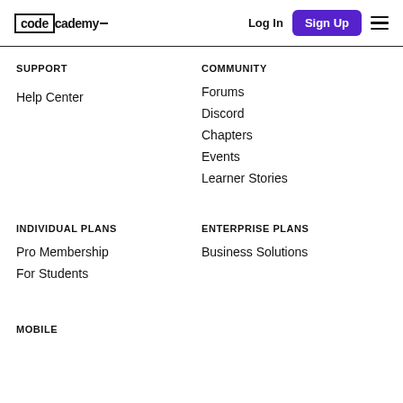Codecademy — Log In | Sign Up
SUPPORT
Help Center
COMMUNITY
Forums
Discord
Chapters
Events
Learner Stories
INDIVIDUAL PLANS
Pro Membership
For Students
ENTERPRISE PLANS
Business Solutions
MOBILE